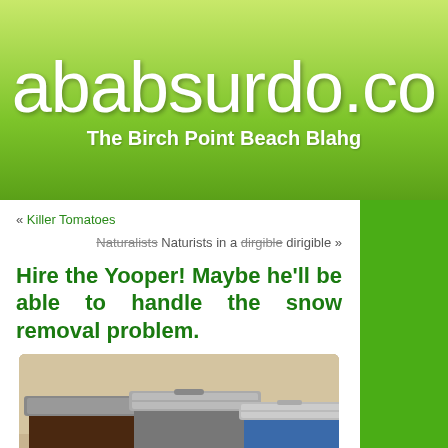ababsurdo.co — The Birch Point Beach Blahg
« Killer Tomatoes
Naturalists Naturists in a dirgible dirigible »
Hire the Yooper! Maybe he'll be able to handle the snow removal problem.
[Figure (photo): Photo of two large wheeled trash/recycling bins side by side. The right bin is blue and labeled RECYCLE with a number below. The left bin is dark brown/black. Both have gray lids.]